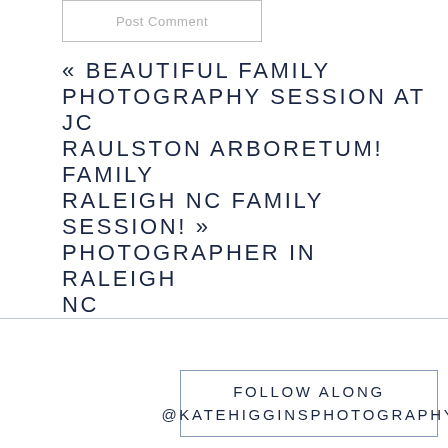Post Comment
« BEAUTIFUL FAMILY PHOTOGRAPHY SESSION AT JC RAULSTON ARBORETUM! RALEIGH NC FAMILY PHOTOGRAPHER IN RALEIGH NC   WHITE CHAPEL HILL FAMILY PHOTOGRAPHY SESSION! »
FOLLOW ALONG
@KATEHIGGINSPHOTOGRAPHY